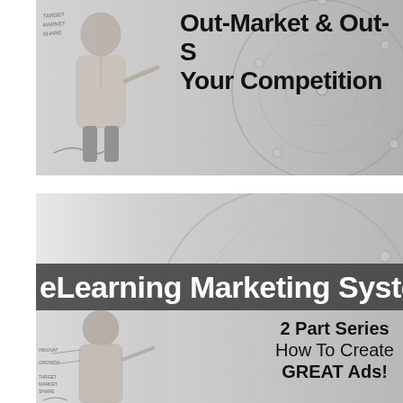[Figure (illustration): Top card: man at whiteboard with 'Target Market Share' written, globe network background, bold text 'Out-Market & Out-S... Your Competition']
[Figure (illustration): Middle/bottom card: globe network background, dark banner with 'eLearning Marketing Syste...' text, lower section shows man at whiteboard with 'Innovate Growth Target Market Share', bold text '2 Part Series How To Create GREAT Ads!']